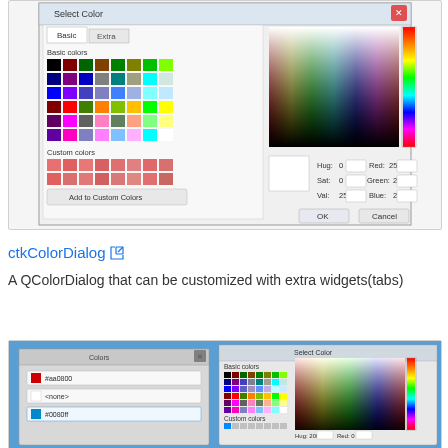[Figure (screenshot): Windows QColorDialog color picker dialog showing Basic and Extra tabs, color swatches grid, color spectrum picker, and HSV/RGB input fields with OK and Cancel buttons]
ctkColorDialog [external link icon]
A QColorDialog that can be customized with extra widgets(tabs)
[Figure (screenshot): macOS-style ctkColorDialog showing a custom dialog on the left with color name inputs and a standard QColorDialog color picker on the right with color swatches and spectrum]